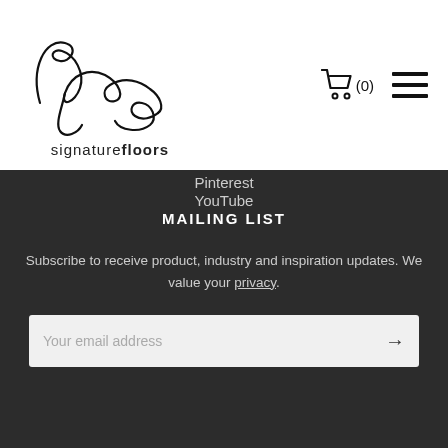[Figure (logo): Signature Floors handwritten script logo with 'signaturefloors' text underneath]
(0)
Pinterest
YouTube
MAILING LIST
Subscribe to receive product, industry and inspiration updates. We value your privacy.
Your email address